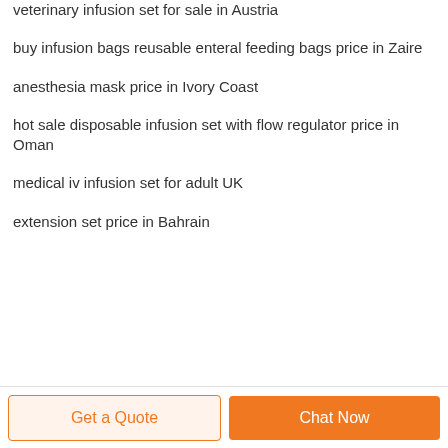veterinary infusion set for sale in Austria
buy infusion bags reusable enteral feeding bags price in Zaire
anesthesia mask price in Ivory Coast
hot sale disposable infusion set with flow regulator price in Oman
medical iv infusion set for adult UK
extension set price in Bahrain
Get a Quote  Chat Now